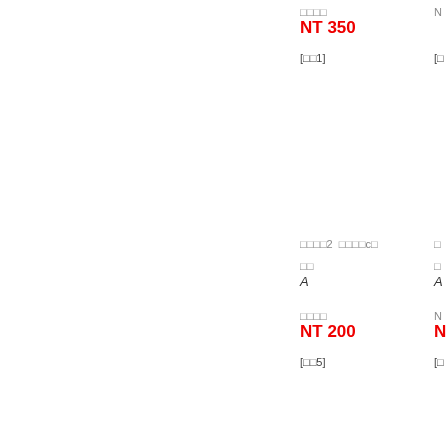□□□□
NT 350
[□□1]
□□□□2  □□□□c□
□□
A
□□□□
NT 200
[□□5]